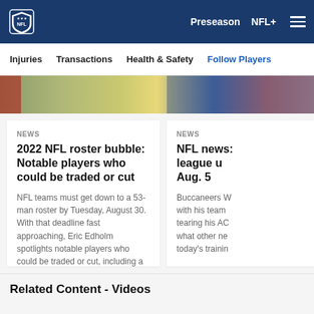NFL — Preseason  NFL+  Menu
Injuries  Transactions  Health & Safety  Follow Players
[Figure (photo): Partial photo strip showing football players in action, partially obscured, with a blue overlay on the right portion.]
NEWS
2022 NFL roster bubble: Notable players who could be traded or cut
NFL teams must get down to a 53-man roster by Tuesday, August 30. With that deadline fast approaching, Eric Edholm spotlights notable players who could be traded or cut, including a trio of quarterbacks.
NEWS
NFL news: league up Aug. 5
Buccaneers W with his team tearing his AC what other ne today's trainin
Related Content - Videos